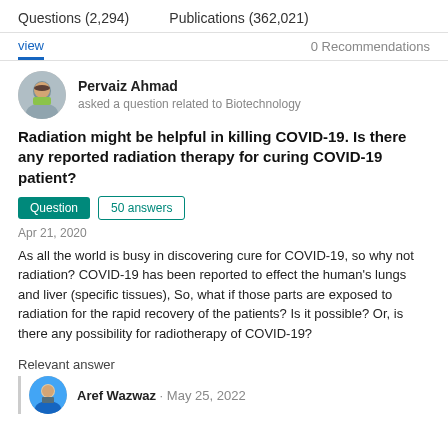Questions (2,294)    Publications (362,021)
view    0 Recommendations
Pervaiz Ahmad
asked a question related to Biotechnology
Radiation might be helpful in killing COVID-19. Is there any reported radiation therapy for curing COVID-19 patient?
Question   50 answers
Apr 21, 2020
As all the world is busy in discovering cure for COVID-19, so why not radiation? COVID-19 has been reported to effect the human's lungs and liver (specific tissues), So, what if those parts are exposed to radiation for the rapid recovery of the patients? Is it possible? Or, is there any possibility for radiotherapy of COVID-19?
Relevant answer
Aref Wazwaz · May 25, 2022